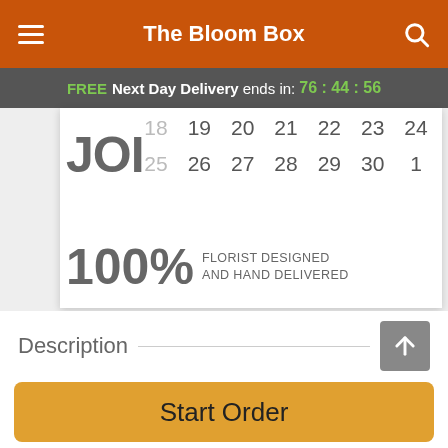The Bloom Box
FREE Next Day Delivery ends in: 76:44:56
[Figure (screenshot): Calendar date picker showing rows of dates: 18(dim) 19 20 21 22 23 24 and 25(dim) 26 27 28 29 30 1, overlaid on a promotional card with JOIN text, 100% FLORIST DESIGNED AND HAND DELIVERED]
Description
Send the sweetest surprise! A dazzling bouquet blooming with love and happiness, this breathtaking arrangement is
Start Order